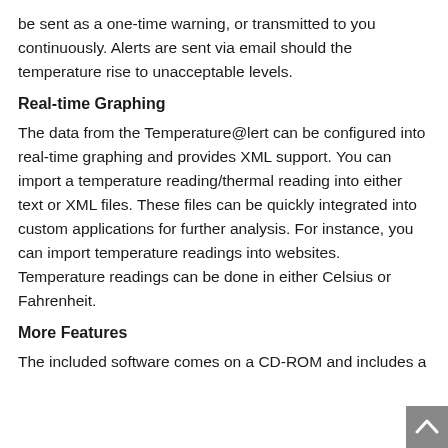be sent as a one-time warning, or transmitted to you continuously. Alerts are sent via email should the temperature rise to unacceptable levels.
Real-time Graphing
The data from the Temperature@lert can be configured into real-time graphing and provides XML support. You can import a temperature reading/thermal reading into either text or XML files. These files can be quickly integrated into custom applications for further analysis. For instance, you can import temperature readings into websites. Temperature readings can be done in either Celsius or Fahrenheit.
More Features
The included software comes on a CD-ROM and includes a